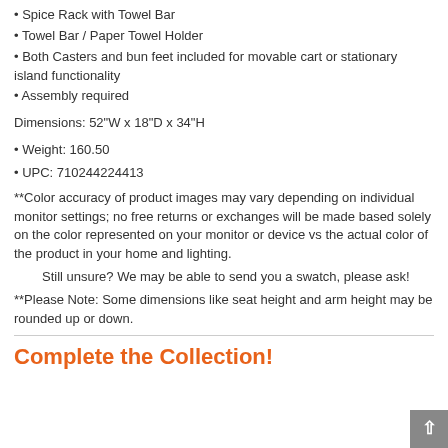• Spice Rack with Towel Bar
• Towel Bar / Paper Towel Holder
• Both Casters and bun feet included for movable cart or stationary island functionality
• Assembly required
Dimensions: 52"W x 18"D x 34"H
• Weight: 160.50
• UPC: 710244224413
**Color accuracy of product images may vary depending on individual monitor settings; no free returns or exchanges will be made based solely on the color represented on your monitor or device vs the actual color of the product in your home and lighting.
Still unsure? We may be able to send you a swatch, please ask!
**Please Note: Some dimensions like seat height and arm height may be rounded up or down.
Complete the Collection!